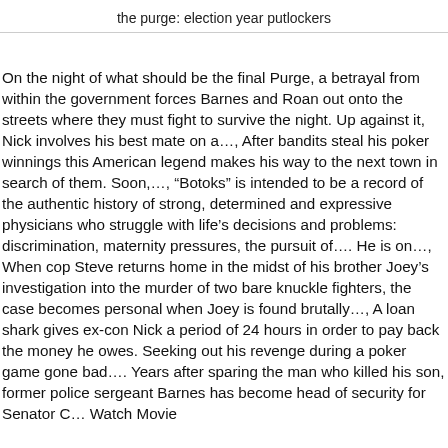the purge: election year putlockers
On the night of what should be the final Purge, a betrayal from within the government forces Barnes and Roan out onto the streets where they must fight to survive the night. Up against it, Nick involves his best mate on a…, After bandits steal his poker winnings this American legend makes his way to the next town in search of them. Soon,…, “Botoks” is intended to be a record of the authentic history of strong, determined and expressive physicians who struggle with life’s decisions and problems: discrimination, maternity pressures, the pursuit of…. He is on…, When cop Steve returns home in the midst of his brother Joey’s investigation into the murder of two bare knuckle fighters, the case becomes personal when Joey is found brutally…, A loan shark gives ex-con Nick a period of 24 hours in order to pay back the money he owes. Seeking out his revenge during a poker game gone bad…. Years after sparing the man who killed his son, former police sergeant Barnes has become head of security for Senator C… Watch Movie